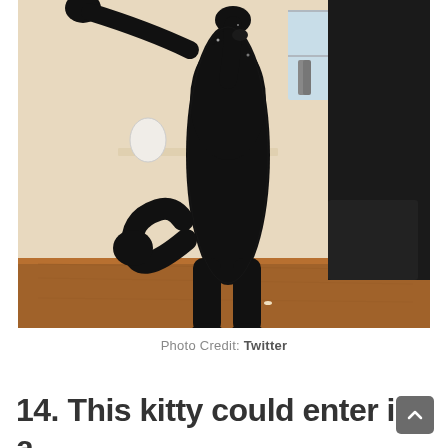[Figure (photo): A black cat standing upright on a wooden table, photographed from below so mostly the underside and legs are visible. The background shows a room with a cream/beige wall, a window, shelves with items, and a person in a dark jacket on the right side.]
Photo Credit: Twitter
14. This kitty could enter in a